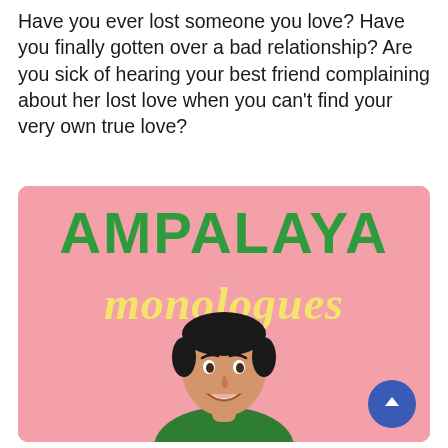Have you ever lost someone you love? Have you finally gotten over a bad relationship? Are you sick of hearing your best friend complaining about her lost love when you can't find your very own true love?
[Figure (photo): Promotional image for 'Ampalaya Monologues' — pink background with large green bold text 'AMPALAYA' and yellow italic script 'monologues' below it, with a smiling young man visible from the shoulders up in the lower portion of the image. A blue circular scroll-up button appears in the bottom right corner.]